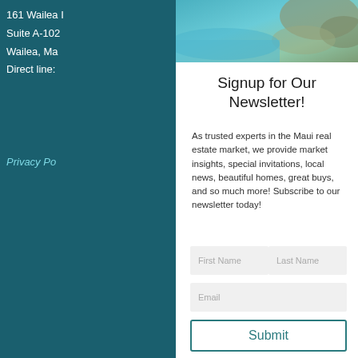[Figure (photo): Aerial photo of Maui coastal rocky shoreline with turquoise water, top-right background]
161 Wailea I
Suite A-102
Wailea, Ma
Direct line:
Privacy Po
[Figure (photo): Aerial coastal photo with green and rocky shoreline and turquoise water in left sidebar]
[Figure (photo): Coastal cliff photo with blue ocean and green terrain in left sidebar]
Signup for Our Newsletter!
As trusted experts in the Maui real estate market, we provide market insights, special invitations, local news, beautiful homes, great buys, and so much more! Subscribe to our newsletter today!
First Name
Last Name
Email
Submit